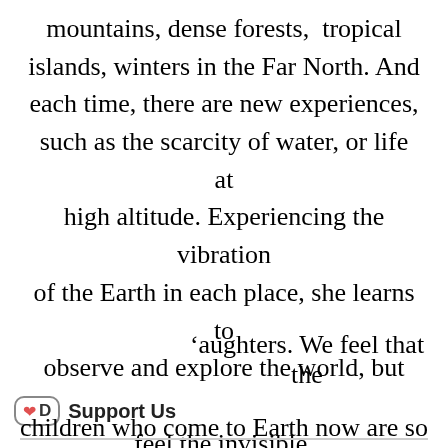mountains, dense forests,  tropical islands, winters in the Far North. And each time, there are new experiences, such as the scarcity of water, or life at high altitude. Experiencing the vibration of the Earth in each place, she learns to observe and explore the world, but also to feel the invisible.
We choose to seek the freedom within ourselves and to give that space of ’aughters. We feel that the children who come to Earth now are so